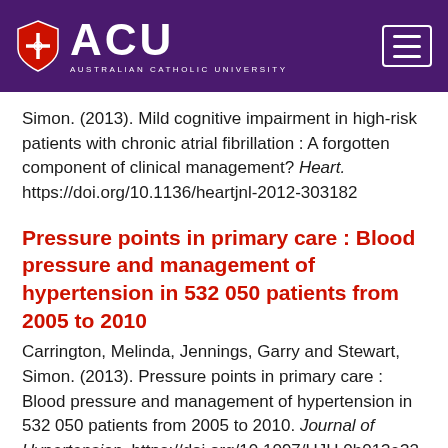[Figure (logo): Australian Catholic University (ACU) logo with shield icon on purple header background, with hamburger menu icon on the right]
Simon. (2013). Mild cognitive impairment in high-risk patients with chronic atrial fibrillation : A forgotten component of clinical management? Heart. https://doi.org/10.1136/heartjnl-2012-303182
Pressure points in primary care : Blood pressure and management of hypertension in 532 050 patients from 2005 to 2010
Carrington, Melinda, Jennings, Garry and Stewart, Simon. (2013). Pressure points in primary care : Blood pressure and management of hypertension in 532 050 patients from 2005 to 2010. Journal of Hypertension. https://doi.org/10.1097/HJH.0b013e32